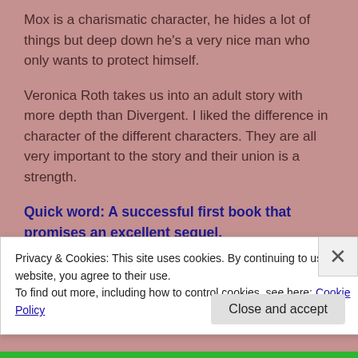Mox is a charismatic character, he hides a lot of things but deep down he's a very nice man who only wants to protect himself.
Veronica Roth takes us into an adult story with more depth than Divergent. I liked the difference in character of the different characters. They are all very important to the story and their union is a strength.
Quick word: A successful first book that promises an excellent sequel.
Privacy & Cookies: This site uses cookies. By continuing to use this website, you agree to their use.
To find out more, including how to control cookies, see here: Cookie Policy
Close and accept